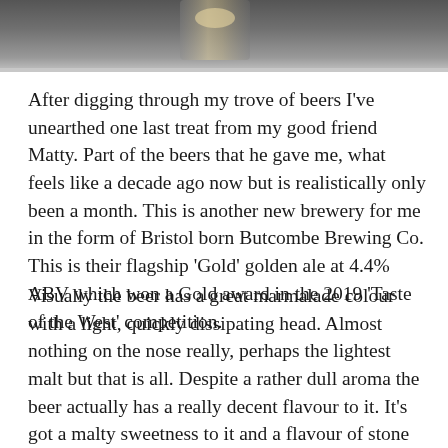[Figure (photo): Partial photo at top of page showing what appears to be a beer glass on a surface, cropped to show only the bottom portion of the image]
After digging through my trove of beers I've unearthed one last treat from my good friend Matty. Part of the beers that he gave me, what feels like a decade ago now but is realistically only been a month. This is another new brewery for me in the form of Bristol born Butcombe Brewing Co. This is their flagship 'Gold' golden ale at 4.4% ABV which won a Gold award in the 2019 'Taste of the West' competition.
Visually the beer has a great marmalade colour with a light, quickly dissipating head. Almost nothing on the nose really, perhaps the lightest malt but that is all. Despite a rather dull aroma the beer actually has a really decent flavour to it. It's got a malty sweetness to it and a flavour of stone fruits particularly plums which is very interesting. A sweet hoppy finish and a good level of carbonation that keeps the beer moving.